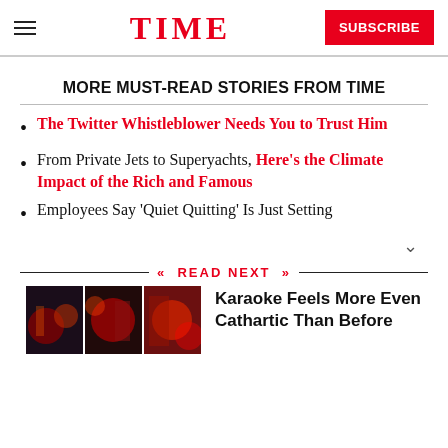TIME  SUBSCRIBE
MORE MUST-READ STORIES FROM TIME
The Twitter Whistleblower Needs You to Trust Him
From Private Jets to Superyachts, Here's the Climate Impact of the Rich and Famous
Employees Say 'Quiet Quitting' Is Just Setting
READ NEXT
Karaoke Feels More Even Cathartic Than Before